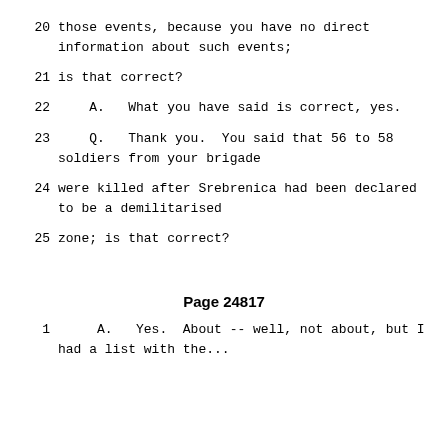20    those events, because you have no direct information about such events;
21    is that correct?
22        A.   What you have said is correct, yes.
23        Q.   Thank you.  You said that 56 to 58 soldiers from your brigade
24    were killed after Srebrenica had been declared to be a demilitarised
25    zone; is that correct?
Page 24817
1         A.   Yes.  About -- well, not about, but I
had a list with the...